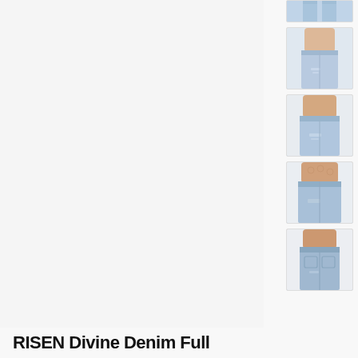[Figure (photo): Partial thumbnail of light blue jeans at top, cropped showing only the lower legs/feet area]
[Figure (photo): Thumbnail of a woman wearing a pink/peach top and light blue distressed jeans, upper body and waist visible]
[Figure (photo): Thumbnail of a woman wearing a peach top and light blue jeans, close-up of waist and hips area with distressing detail]
[Figure (photo): Thumbnail of a woman wearing a lace peach top and light blue jeans, side/front view of waist area]
[Figure (photo): Thumbnail of a woman wearing a peach top and light blue jeans, back/side view showing the pocket area]
RISEN Divine Denim Full